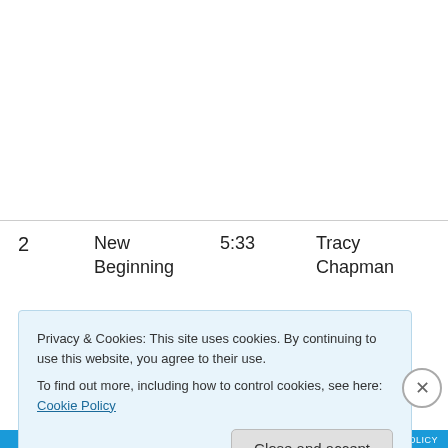| # | Title | Duration | Artist | Album |
| --- | --- | --- | --- | --- |
| 2 | New Beginning | 5:33 | Tracy Chapman | New Beginning |
Privacy & Cookies: This site uses cookies. By continuing to use this website, you agree to their use.
To find out more, including how to control cookies, see here: Cookie Policy
Close and accept